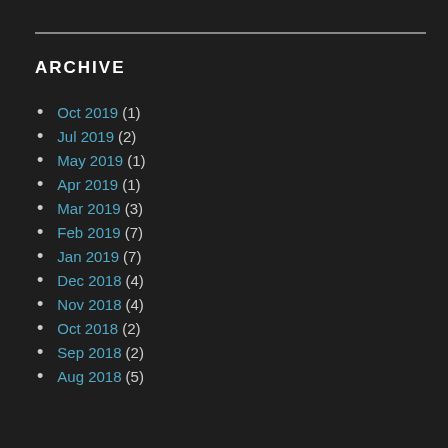ARCHIVE
Oct 2019 (1)
Jul 2019 (2)
May 2019 (1)
Apr 2019 (1)
Mar 2019 (3)
Feb 2019 (7)
Jan 2019 (7)
Dec 2018 (4)
Nov 2018 (4)
Oct 2018 (2)
Sep 2018 (2)
Aug 2018 (5)